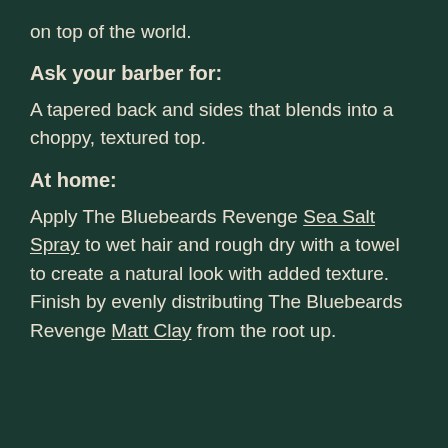on top of the world.
Ask your barber for:
A tapered back and sides that blends into a choppy, textured top.
At home:
Apply The Bluebeards Revenge Sea Salt Spray to wet hair and rough dry with a towel to create a natural look with added texture. Finish by evenly distributing The Bluebeards Revenge Matt Clay from the root up.